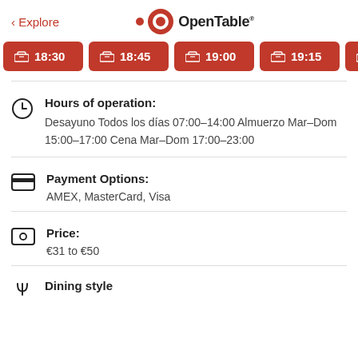< Explore | OpenTable
[Figure (other): Row of reservation time buttons: 18:30, 18:45, 19:00, 19:15, 19:30 in red with table icon]
Hours of operation: Desayuno Todos los días 07:00–14:00 Almuerzo Mar–Dom 15:00–17:00 Cena Mar–Dom 17:00–23:00
Payment Options: AMEX, MasterCard, Visa
Price: €31 to €50
Dining style: